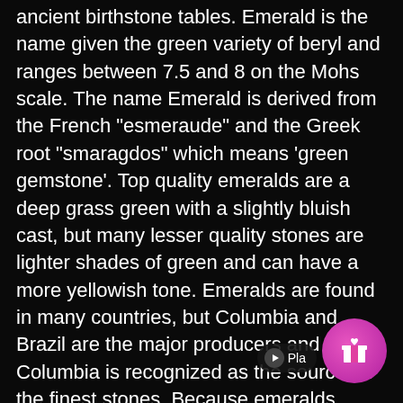ancient birthstone tables. Emerald is the name given the green variety of beryl and ranges between 7.5 and 8 on the Mohs scale. The name Emerald is derived from the French "esmeraude" and the Greek root "smaragdos" which means 'green gemstone'. Top quality emeralds are a deep grass green with a slightly bluish cast, but many lesser quality stones are lighter shades of green and can have a more yellowish tone. Emeralds are found in many countries, but Columbia and Brazil are the major producers and Columbia is recognized as the source for the finest stones. Because emeralds usually contain many cracks, fissures, and inclusions, the majority of these stones are "oiled". This means that they are immersed in oil which reduces the visibility of the inclusions, and also improves the clarity. Oiling almost universal and because it is so c   Pla today, it is not considered necessary to disclose